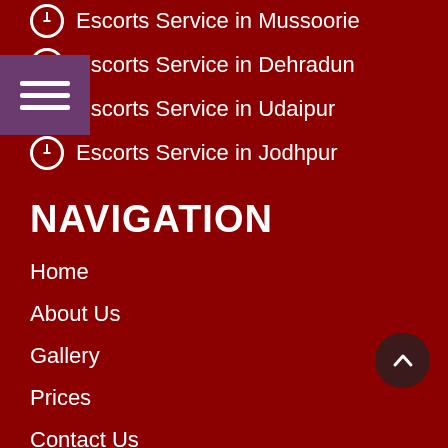Escorts Service in Mussoorie
Escorts Service in Dehradun
Escorts Service in Udaipur
Escorts Service in Jodhpur
NAVIGATION
Home
About Us
Gallery
Prices
Contact Us
SUBSCRIBE